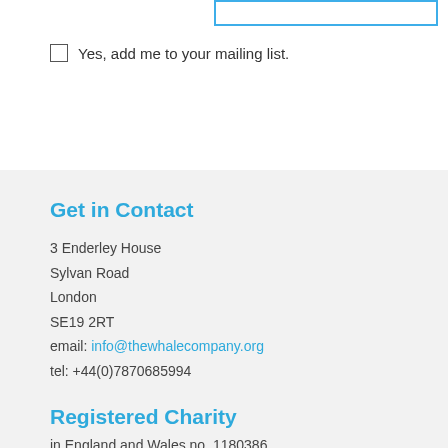Yes, add me to your mailing list.
Get in Contact
3 Enderley House
Sylvan Road
London
SE19 2RT
email: info@thewhalecompany.org
tel: +44(0)7870685994
Registered Charity
in England and Wales no. 1180386